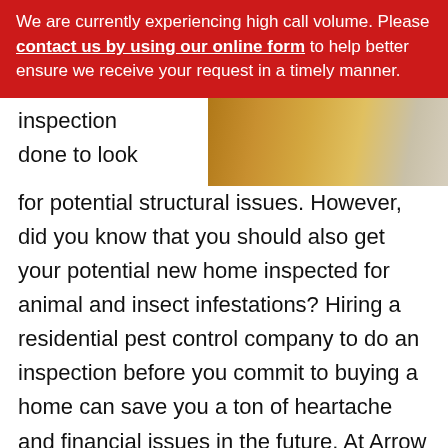We are currently experiencing high call volume. Please contact us by using our online form to help better ensure we receive your request in a timely manner.
[Figure (photo): A partial photo of what appears to be termite or pest-related damage to wood, shown in warm brown tones, partially visible at the top right of the page.]
inspection done to look for potential structural issues. However, did you know that you should also get your potential new home inspected for animal and insect infestations? Hiring a residential pest control company to do an inspection before you commit to buying a home can save you a ton of heartache and financial issues in the future. At Arrow Exterminating in Nassau County, NY, we know that the initial inspection is important, but once you've purchased a home, a regular inspection will help you protect yourself